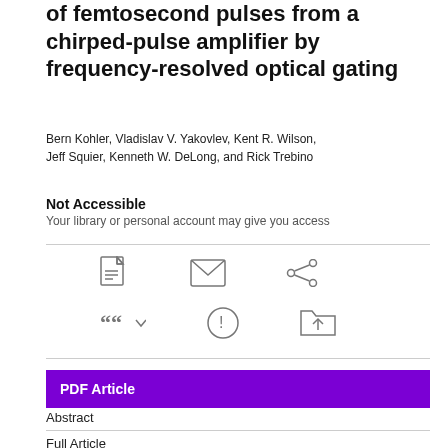of femtosecond pulses from a chirped-pulse amplifier by frequency-resolved optical gating
Bern Kohler, Vladislav V. Yakovlev, Kent R. Wilson, Jeff Squier, Kenneth W. DeLong, and Rick Trebino
Not Accessible
Your library or personal account may give you access
[Figure (infographic): Row of icons: PDF icon, envelope/email icon, share icon]
[Figure (infographic): Row of icons: cite/quotation marks with dropdown, alert/info circle icon, folder upload icon]
PDF Article
Abstract
Full Article